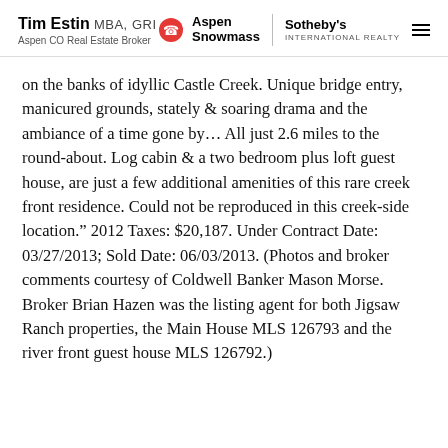Tim Estin MBA, GRI — Aspen CO Real Estate Broker — Aspen Snowmass Sotheby's International Realty
on the banks of idyllic Castle Creek. Unique bridge entry, manicured grounds, stately & soaring drama and the ambiance of a time gone byâ€¦ All just 2.6 miles to the round-about. Log cabin & a two bedroom plus loft guest house, are just a few additional amenities of this rare creek front residence. Could not be reproduced in this creek-side location.” 2012 Taxes: $20,187. Under Contract Date: 03/27/2013; Sold Date: 06/03/2013. (Photos and broker comments courtesy of Coldwell Banker Mason Morse. Broker Brian Hazen was the listing agent for both Jigsaw Ranch properties, the Main House MLS 126793 and the river front guest house MLS 126792.)